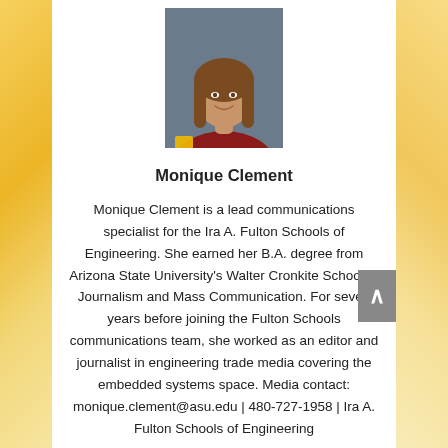[Figure (photo): Headshot photo of Monique Clement, a young woman with long brown hair, smiling, wearing a dark top with gold/maroon accent, against a gray background.]
Monique Clement
Monique Clement is a lead communications specialist for the Ira A. Fulton Schools of Engineering. She earned her B.A. degree from Arizona State University's Walter Cronkite School of Journalism and Mass Communication. For seven years before joining the Fulton Schools communications team, she worked as an editor and journalist in engineering trade media covering the embedded systems space. Media contact: monique.clement@asu.edu | 480-727-1958 | Ira A. Fulton Schools of Engineering